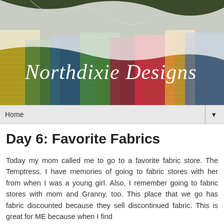[Figure (photo): Header image for Northdixie Designs blog: colorful layered fabric with a sheer white mesh overlay draped across it. White text reads 'Northdixie Designs' in a serif italic font overlaid on the fabric image.]
Home ▼
Day 6: Favorite Fabrics
Today my mom called me to go to a favorite fabric store. The Temptress. I have memories of going to fabric stores with her from when I was a young girl. Also, I remember going to fabric stores with mom and Granny, too. This place that we go has fabric discounted because they sell discontinued fabric. This is great for ME because when I find